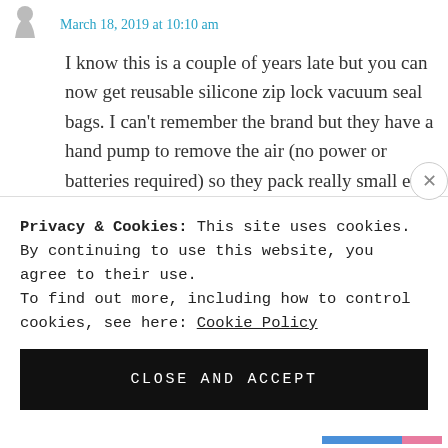March 18, 2019 at 10:10 am
I know this is a couple of years late but you can now get reusable silicone zip lock vacuum seal bags. I can’t remember the brand but they have a hand pump to remove the air (no power or batteries required) so they pack really small even when full, and as they are silicone they are completely washable and reusable.
Privacy & Cookies: This site uses cookies. By continuing to use this website, you agree to their use.
To find out more, including how to control cookies, see here: Cookie Policy
CLOSE AND ACCEPT